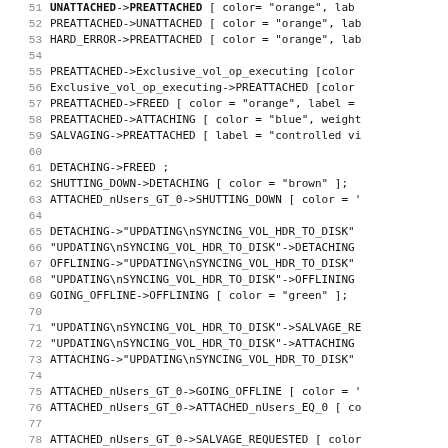Code listing lines 51-83, state machine graph definitions in DOT-like syntax
51  UNATTACHED->PREATTACHED [ color= "orange", lab
52  PREATTACHED->UNATTACHED [ color = "orange", lab
53  HARD_ERROR->PREATTACHED [ color = "orange", lab
54  (blank)
55  PREATTACHED->Exclusive_vol_op_executing [color
56  Exclusive_vol_op_executing->PREATTACHED [color
57  PREATTACHED->FREED [ color = "orange", label =
58  PREATTACHED->ATTACHING [ color = "blue", weight
59  SALVAGING->PREATTACHED [ label = "controlled vi
60  (blank)
61  DETACHING->FREED ;
62  SHUTTING_DOWN->DETACHING [ color = "brown" ];
63  ATTACHED_nUsers_GT_0->SHUTTING_DOWN [ color = '
64  (blank)
65  DETACHING->"UPDATING\nSYNCING_VOL_HDR_TO_DISK"
66  "UPDATING\nSYNCING_VOL_HDR_TO_DISK"->DETACHING
67  OFFLINING->"UPDATING\nSYNCING_VOL_HDR_TO_DISK"
68  "UPDATING\nSYNCING_VOL_HDR_TO_DISK"->OFFLINING
69  GOING_OFFLINE->OFFLINING [ color = "green" ];
70  (blank)
71  "UPDATING\nSYNCING_VOL_HDR_TO_DISK"->SALVAGE_RE
72  "UPDATING\nSYNCING_VOL_HDR_TO_DISK"->ATTACHING
73  ATTACHING->"UPDATING\nSYNCING_VOL_HDR_TO_DISK"
74  (blank)
75  ATTACHED_nUsers_GT_0->GOING_OFFLINE [ color = '
76  ATTACHED_nUsers_GT_0->ATTACHED_nUsers_EQ_0 [ co
77  (blank)
78  ATTACHED_nUsers_GT_0->SALVAGE_REQUESTED [ color
79  (blank)
80  LOADING_VNODE_BITMAPS->ATTACHING [ color = "blu
81  ATTACHING->LOADING_VNODE_BITMAPS [ color = "blu
82  LOADING_VNODE_BITMAPS->SALVAGE_REQUESTED [ colo
83  HDR_LOADING_FROM_DISK->SALVAGE_REQUESTED [ colo